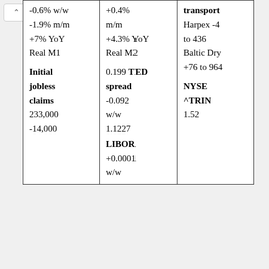| -0.6% w/w
-1.9% m/m
+7% YoY
Real M1

Initial jobless claims
233,000
-14,000 | +0.4% m/m
+4.3% YoY
Real M2

0.199 TED spread
-0.092 w/w
1.1227
LIBOR
+0.0001
w/w | transport
Harpex -4 to 436
Baltic Dry +76 to 964

NYSE ^TRIN
1.52 |